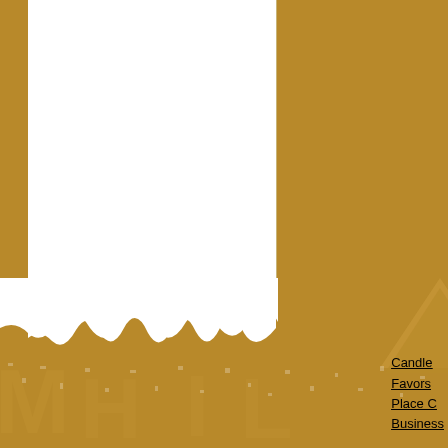Explore more Hand Fan Favor id
– Nyah
« Previous Entries
Candle
Favors
Place C
Business